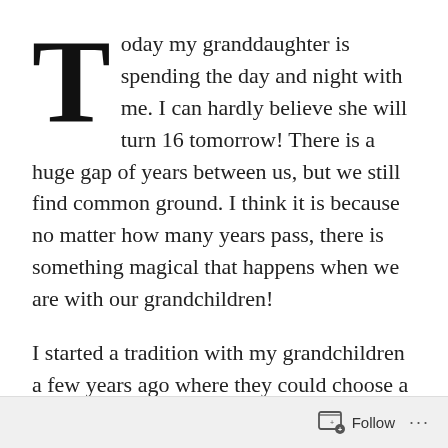Today my granddaughter is spending the day and night with me. I can hardly believe she will turn 16 tomorrow! There is a huge gap of years between us, but we still find common ground. I think it is because no matter how many years pass, there is something magical that happens when we are with our grandchildren!
I started a tradition with my grandchildren a few years ago where they could choose a movie and a place to have lunch. The girls always chose to spend that night with me, too. Over the years, we made happy memories I hope they will remember when I'm in Heaven.
I adore all my grandchildren and soon there will be no
Follow